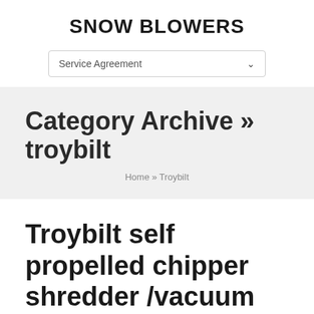SNOW BLOWERS
Service Agreement
Category Archive » troybilt
Home » Troybilt
Troybilt self propelled chipper shredder /vacuum blower local pickup only